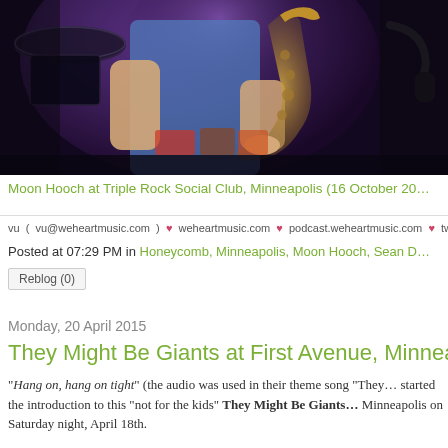[Figure (photo): Concert photo of a musician playing saxophone under purple stage lighting at Triple Rock Social Club, Minneapolis]
Moon Hooch at Triple Rock Social Club, Minneapolis (16 October 20…
vu ( vu@weheartmusic.com ) ♥ weheartmusic.com ♥ podcast.weheartmusic.com ♥ twitt…
Posted at 07:29 PM in Honeycomb, Minneapolis, Moon Hooch, Sean D…
Reblog (0)
Monday, 20 April 2015
They Might Be Giants at First Avenue, Minneap…
"Hang on, hang on tight" (the audio was used in their theme song "They… started the introduction to this "not for the kids" They Might Be Giants… Minneapolis on Saturday night, April 18th.